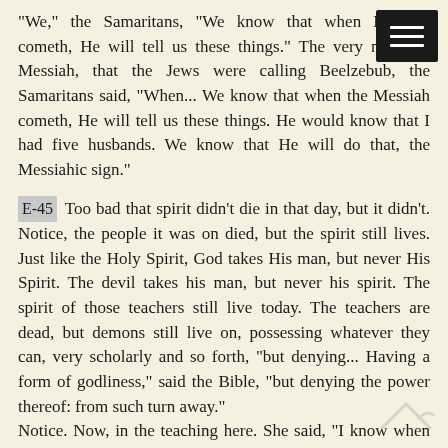"We," the Samaritans, "We know that when Messiah cometh, He will tell us these things." The very name of Messiah, that the Jews were calling Beelzebub, the Samaritans said, "When... We know that when the Messiah cometh, He will tell us these things. He would know that I had five husbands. We know that He will do that, the Messiahic sign."
E-45 Too bad that spirit didn't die in that day, but it didn't. Notice, the people it was on died, but the spirit still lives. Just like the Holy Spirit, God takes His man, but never His Spirit. The devil takes his man, but never his spirit. The spirit of those teachers still live today. The teachers are dead, but demons still live on, possessing whatever they can, very scholarly and so forth, "but denying... Having a form of godliness," said the Bible, "but denying the power thereof: from such turn away."
Notice. Now, in the teaching here. She said, "I know when Messiah cometh, He will tell us those things."